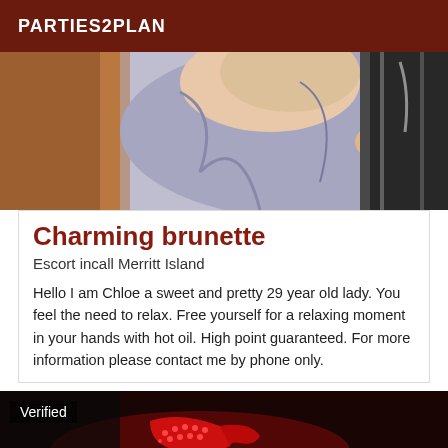PARTIES2PLAN
[Figure (photo): Person wrapped in a blue/grey towel in a bathroom setting]
Charming brunette
Escort incall Merritt Island
Hello I am Chloe a sweet and pretty 29 year old lady. You feel the need to relax. Free yourself for a relaxing moment in your hands with hot oil. High point guaranteed. For more information please contact me by phone only.
[Figure (photo): Dark photo with red high heels visible, with a 'Verified' badge overlay]